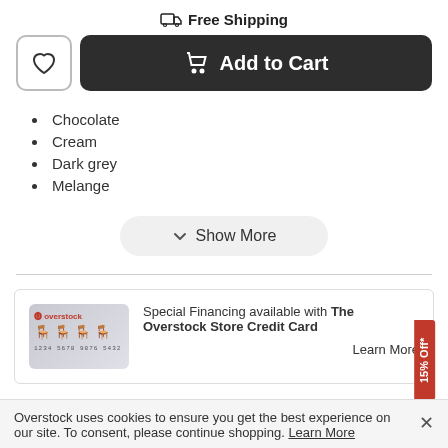Free Shipping
Add to Cart
Chocolate
Cream
Dark grey
Melange
Show More
Special Financing available with The Overstock Store Credit Card
Learn More
15% Off*
Overstock uses cookies to ensure you get the best experience on our site. To consent, please continue shopping. Learn More